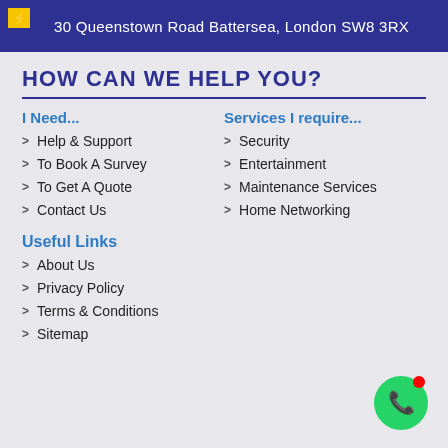30 Queenstown Road Battersea, London SW8 3RX
HOW CAN WE HELP YOU?
I Need...
Help & Support
To Book A Survey
To Get A Quote
Contact Us
Services I require...
Security
Entertainment
Maintenance Services
Home Networking
Useful Links
About Us
Privacy Policy
Terms & Conditions
Sitemap
[Figure (logo): WhatsApp chat button (green circle with white phone icon and red notification dot)]